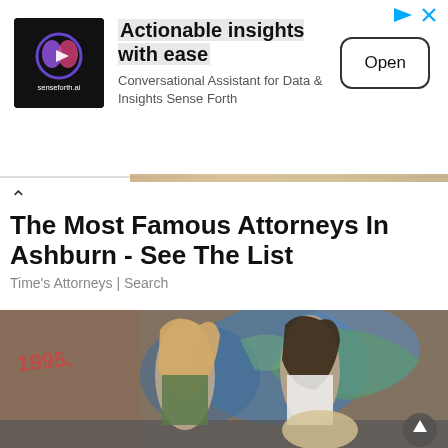[Figure (screenshot): Advertisement banner for senseforth.ai with logo, headline 'Actionable insights with ease', subtext 'Conversational Assistant for Data & Insights Sense Forth', and an Open button. Ad icons (triangle and X) in top right.]
The Most Famous Attorneys In Ashburn - See The List
Time's Attorneys | Search
[Figure (photo): Two young women sitting against a graffiti-covered brick wall, both eating ice cream cones. Left woman has long blonde hair and wears a green jacket. Right woman has dark curly hair and wears a white top. The background shows colorful graffiti.]